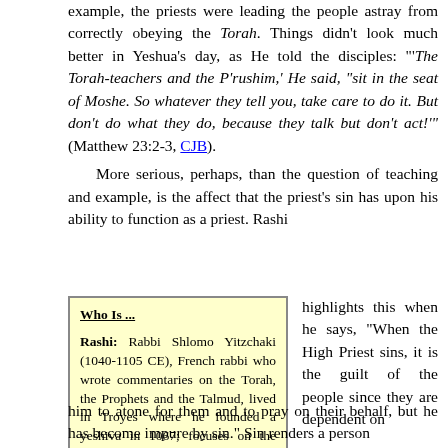example, the priests were leading the people astray from correctly obeying the Torah. Things didn't look much better in Yeshua's day, as He told the disciples: "'The Torah-teachers and the P'rushim,' He said, "sit in the seat of Moshe. So whatever they tell you, take care to do it. But don't do what they do, because they talk but don't act!'" (Matthew 23:2-3, CJB).
More serious, perhaps, than the question of teaching and example, is the affect that the priest's sin has upon his ability to function as a priest. Rashi highlights this when he says, "When the High Priest sins, it is the guilt of the people since they are dependent on him to atone for them and to pray on their behalf, but he has become impure by sin." Sin renders a person
Who Is ...
Rashi: Rabbi Shlomo Yitzchaki (1040-1105 CE), French rabbi who wrote commentaries on the Torah, the Prophets and the Talmud, lived in Troyes where he founded a yeshiva in 1067; focuses on the plain meaning (p'shat) of the text, although sometimes quite cryptic in his brevity
him to atone for them and to pray on their behalf, but he has become impure by sin." Sin renders a person